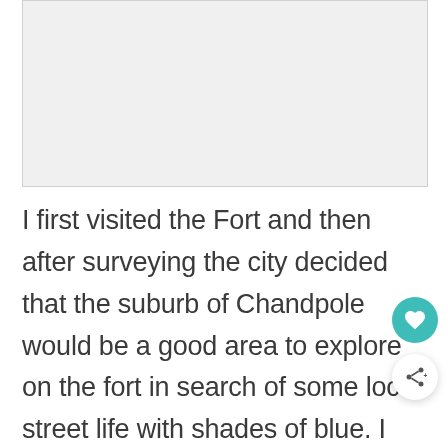[Figure (photo): A photo placeholder area, light gray background, likely a travel/street photo]
I first visited the Fort and then after surveying the city decided that the suburb of Chandpole would be a good area to explore on the fort in search of some local street life with shades of blue. I had a relaxing afternoon wandering the alleys, getting slightly